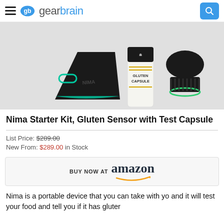gearbrain
[Figure (photo): Product photo showing Nima Starter Kit: a black triangular gluten sensor device with teal accent, a white and yellow gluten capsule tube, and a black test capsule insert piece, on a white background]
Nima Starter Kit, Gluten Sensor with Test Capsule
List Price: $289.00
New From: $289.00 in Stock
[Figure (logo): BUY NOW AT amazon button with Amazon smile logo]
Nima is a portable device that you can take with you and it will test your food and tell you if it has gluten